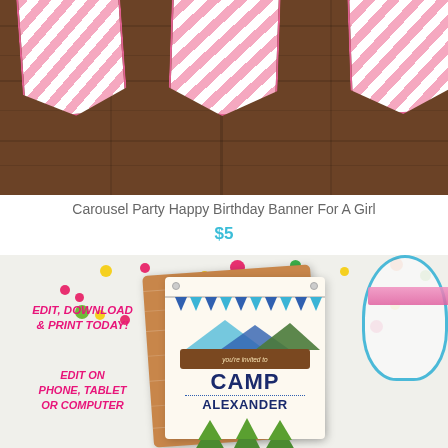[Figure (photo): Pink striped birthday banner flags hanging on a dark wood background, part of Carousel Party Happy Birthday Banner for a girl product]
Carousel Party Happy Birthday Banner For A Girl
$5
[Figure (photo): Camp Alexander party invitation card shown on a white confetti-scattered background with text 'EDIT, DOWNLOAD & PRINT TODAY!' and 'EDIT ON PHONE, TABLET OR COMPUTER' in pink. The invitation shows a camping theme with trees, bunting flags, and 'you're invited to CAMP ALEXANDER'.]